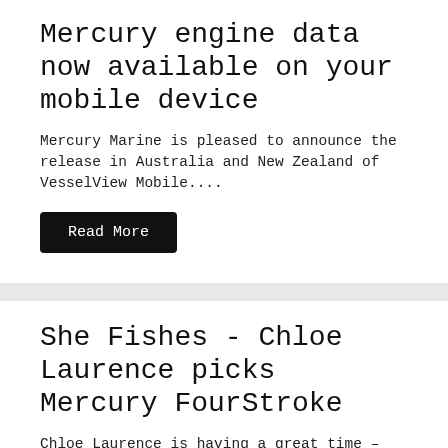Mercury engine data now available on your mobile device
Mercury Marine is pleased to announce the release in Australia and New Zealand of VesselView Mobile....
Read More
She Fishes - Chloe Laurence picks Mercury FourStroke
Chloe Laurence is having a great time – breaking down stereotypes while doing what she loves. A...